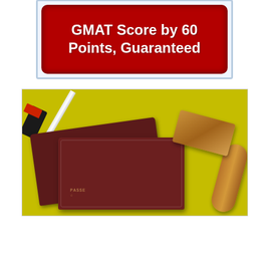[Figure (other): Red rounded rectangle banner with white bold text reading 'GMAT Score by 60 Points, Guaranteed' on a white background with light blue border]
[Figure (photo): Photo of two dark red passport books on a yellow-green surface with a wooden rubber stamp placed on top and a mallet/hammer in the upper left corner]